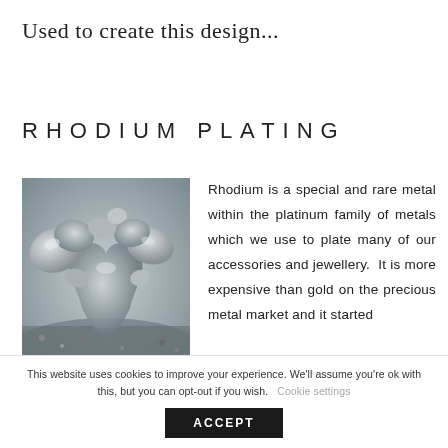Used to create this design...
RHODIUM PLATING
[Figure (photo): Close-up black and white photo of rhodium metal nuggets/chunks on a surface]
Rhodium is a special and rare metal within the platinum family of metals which we use to plate many of our accessories and jewellery.  It is more expensive than gold on the precious metal market and it started
This website uses cookies to improve your experience. We'll assume you're ok with this, but you can opt-out if you wish.
Cookie settings
ACCEPT